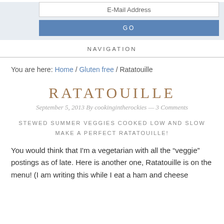E-Mail Address
GO
NAVIGATION
You are here: Home / Gluten free / Ratatouille
RATATOUILLE
September 5, 2013 By cookingintherockies — 3 Comments
STEWED SUMMER VEGGIES COOKED LOW AND SLOW MAKE A PERFECT RATATOUILLE!
You would think that I'm a vegetarian with all the “veggie” postings as of late. Here is another one, Ratatouille is on the menu! (I am writing this while I eat a ham and cheese